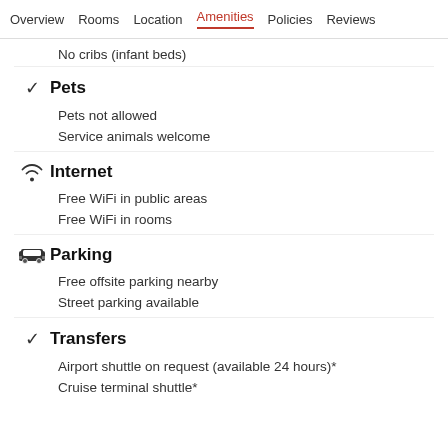Overview  Rooms  Location  Amenities  Policies  Reviews
No cribs (infant beds)
Pets
Pets not allowed
Service animals welcome
Internet
Free WiFi in public areas
Free WiFi in rooms
Parking
Free offsite parking nearby
Street parking available
Transfers
Airport shuttle on request (available 24 hours)*
Cruise terminal shuttle*